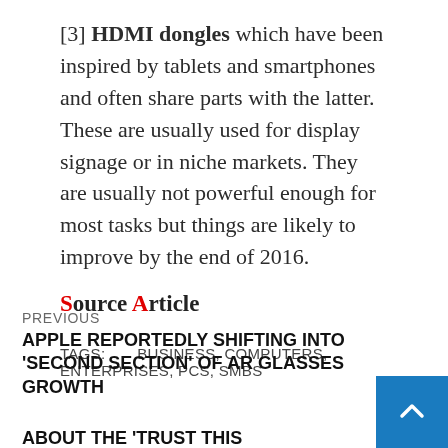[3] HDMI dongles which have been inspired by tablets and smartphones and often share parts with the latter. These are usually used for display signage or in niche markets. They are usually not powerful enough for most tasks but things are likely to improve by the end of 2016.
Source Article
TAGS:   BUSINESS, COMPUTERS, ENTERPRISES, PCS, SMBS
PREVIOUS
APPLE REPORTEDLY SHIFTING INTO ‘SECOND SECTION’ OF AR GLASSES GROWTH
NEXT
ABOUT THE ‘TRUST THIS COMPUTER’ ALERT YOUR IPHONE, IPAD, OR IPOD TO